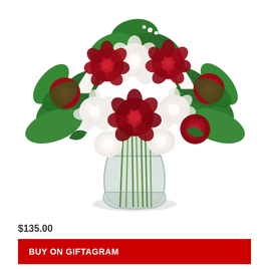[Figure (photo): A flower arrangement with red roses and white roses/calla lilies in a clear glass vase with green stems visible through the glass, on a white background.]
$135.00
BUY ON GIFTAGRAM